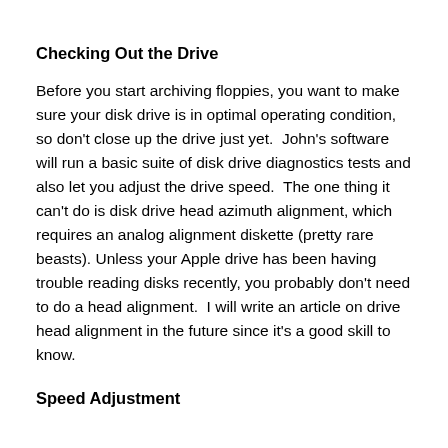Checking Out the Drive
Before you start archiving floppies, you want to make sure your disk drive is in optimal operating condition, so don't close up the drive just yet.  John's software will run a basic suite of disk drive diagnostics tests and also let you adjust the drive speed.  The one thing it can't do is disk drive head azimuth alignment, which requires an analog alignment diskette (pretty rare beasts). Unless your Apple drive has been having trouble reading disks recently, you probably don't need to do a head alignment.  I will write an article on drive head alignment in the future since it's a good skill to know.
Speed Adjustment